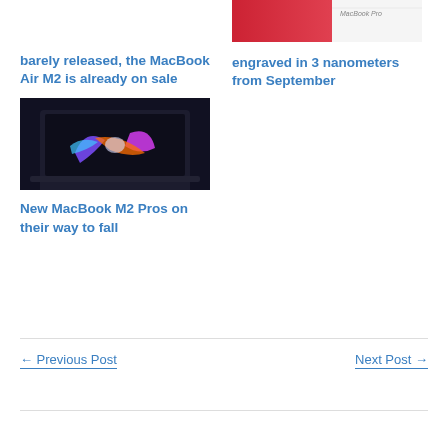[Figure (photo): MacBook Pro box with red background, partially visible at top of right column]
barely released, the MacBook Air M2 is already on sale
engraved in 3 nanometers from September
[Figure (photo): MacBook laptop open showing colorful abstract wallpaper on dark background]
New MacBook M2 Pros on their way to fall
← Previous Post
Next Post →